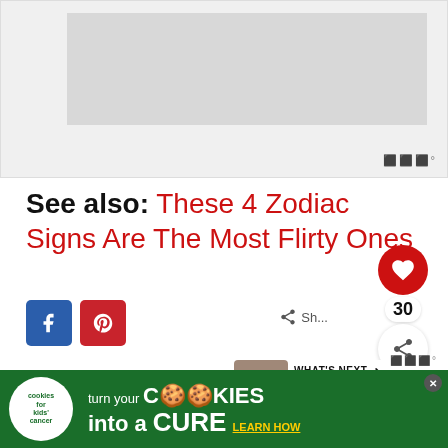[Figure (photo): Gray placeholder image / advertisement block at top of page]
See also: These 4 Zodiac Signs Are The Most Flirty Ones
[Figure (other): Facebook share button (blue square with f icon)]
[Figure (other): Pinterest share button (red square with P icon)]
[Figure (other): Right-side floating panel with heart button (30 likes), share button]
[Figure (other): WHAT'S NEXT panel with thumbnail and text 'These 3 Zodiac Sign...']
[Figure (other): Advertisement banner: cookies for kids cancer - turn your cookies into a cure learn how]